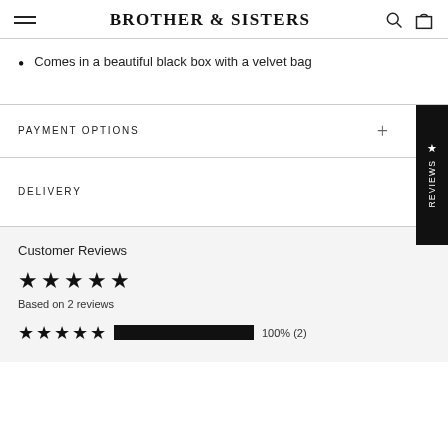BROTHER & SISTERS
Comes in a beautiful black box with a velvet bag
PAYMENT OPTIONS
DELIVERY
Customer Reviews
Based on 2 reviews
100% (2)